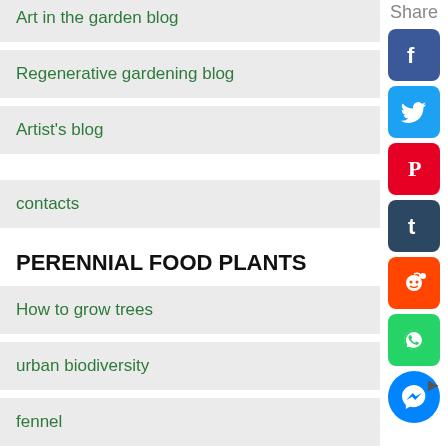Art in the garden blog
Regenerative gardening blog
Artist's blog
contacts
PERENNIAL FOOD PLANTS
How to grow trees
urban biodiversity
fennel